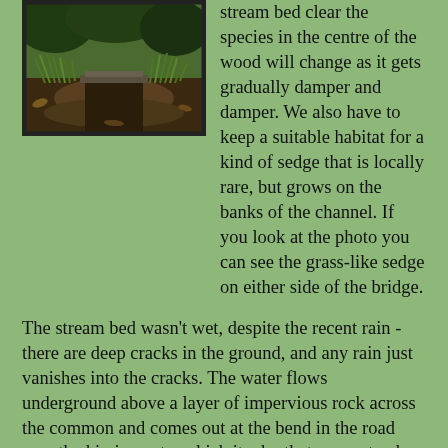[Figure (photo): Photograph of a stream bed or woodland floor area showing grass-like sedge plants on either side of what appears to be a small bridge or crossing, surrounded by dark soil and leaf litter.]
stream bed clear the species in the centre of the wood will change as it gets gradually damper and damper. We also have to keep a suitable habitat for a kind of sedge that is locally rare, but grows on the banks of the channel. If you look at the photo you can see the grass-like sedge on either side of the bridge.
The stream bed wasn't wet, despite the recent rain - there are deep cracks in the ground, and any rain just vanishes into the cracks. The water flows underground above a layer of impervious rock across the common and comes out at the bend in the road near the kissing gate, which it why that corner tends to flood in the winter.
We also went round all the main paths cutting back excess vegetation, especially at face level. I know it's been a good growing season, but sometimes you can have too much of a good thing!
Our next workday will be on Sunday 12 November (10am for about 3 hours) - come and help us put up some bird and bat boxes.